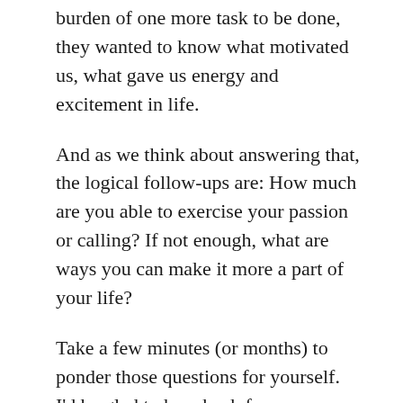burden of one more task to be done, they wanted to know what motivated us, what gave us energy and excitement in life.
And as we think about answering that, the logical follow-ups are: How much are you able to exercise your passion or calling? If not enough, what are ways you can make it more a part of your life?
Take a few minutes (or months) to ponder those questions for yourself. I’d be glad to hear back from anyone what you think your passion or calling is and how how have built or could build that into your life.